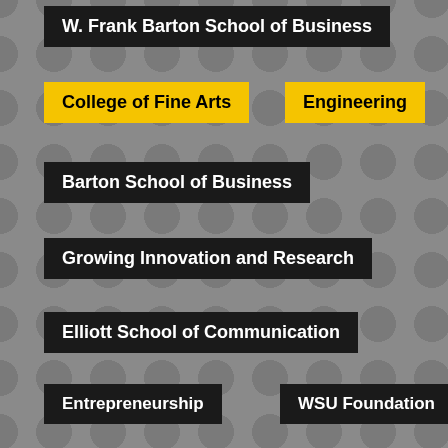W. Frank Barton School of Business
College of Fine Arts
Engineering
Barton School of Business
Growing Innovation and Research
Elliott School of Communication
Entrepreneurship
WSU Foundation
first generation
Digital Transformation
NIAR
student
Economic Prosperity